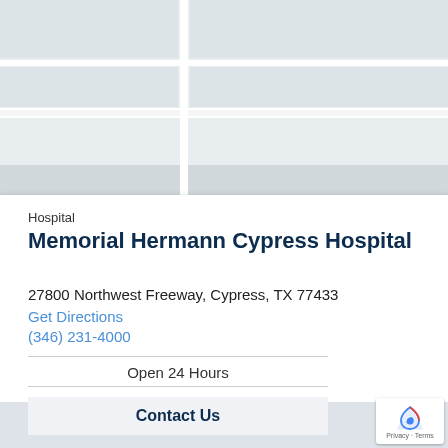[Figure (map): Google Maps screenshot showing street map area in light gray and white tones]
Hospital
Memorial Hermann Cypress Hospital
27800 Northwest Freeway, Cypress, TX 77433
Get Directions
(346) 231-4000
Open 24 Hours
Contact Us